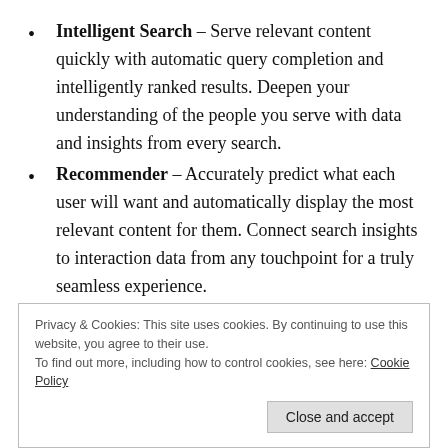Intelligent Search – Serve relevant content quickly with automatic query completion and intelligently ranked results. Deepen your understanding of the people you serve with data and insights from every search.
Recommender – Accurately predict what each user will want and automatically display the most relevant content for them. Connect search insights to interaction data from any touchpoint for a truly seamless experience.
Content Personalization – Deliver content,
Privacy & Cookies: This site uses cookies. By continuing to use this website, you agree to their use.
To find out more, including how to control cookies, see here: Cookie Policy